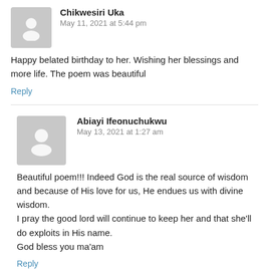Chikwesiri Uka
May 11, 2021 at 5:44 pm
Happy belated birthday to her. Wishing her blessings and more life. The poem was beautiful
Reply
Abiayi Ifeonuchukwu
May 13, 2021 at 1:27 am
Beautiful poem!!! Indeed God is the real source of wisdom and because of His love for us, He endues us with divine wisdom.
I pray the good lord will continue to keep her and that she'll do exploits in His name.
God bless you ma'am
Reply